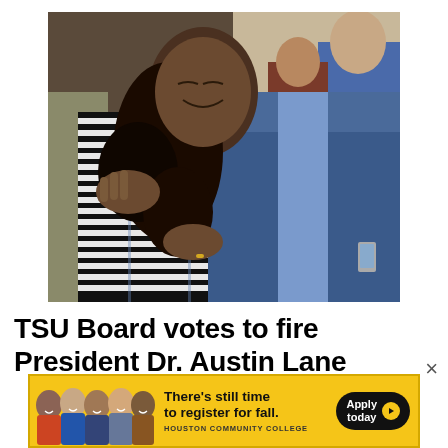[Figure (photo): Two people hugging warmly in a crowded room. The person on the left has long curly hair and wears a black-and-white striped jacket. The person on the right wears a blue suit. Several other people are visible in the background.]
TSU Board votes to fire President Dr. Austin Lane
[Figure (infographic): Advertisement banner for Houston Community College showing student photos on the left and text 'There's still time to register for fall.' with an 'Apply today' button on a yellow background.]